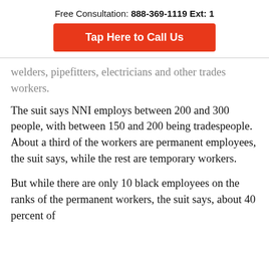Free Consultation: 888-369-1119 Ext: 1
Tap Here to Call Us
welders, pipefitters, electricians and other trades workers.
The suit says NNI employs between 200 and 300 people, with between 150 and 200 being tradespeople. About a third of the workers are permanent employees, the suit says, while the rest are temporary workers.
But while there are only 10 black employees on the ranks of the permanent workers, the suit says, about 40 percent of